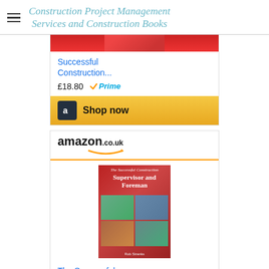Construction Project Management Services and Construction Books
[Figure (screenshot): Partial product card showing a book at £18.80 with Prime badge and Shop now button]
[Figure (screenshot): Amazon.co.uk widget showing 'The Successful Construction Supervisor and Foreman' book at £15.50 with Prime badge and Shop now button]
[Figure (screenshot): Partial bottom of another Amazon widget showing gold header bar]